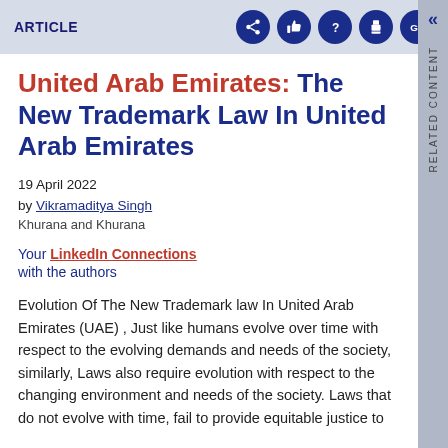ARTICLE
United Arab Emirates: The New Trademark Law In United Arab Emirates
19 April 2022
by Vikramaditya Singh
Khurana and Khurana
Your LinkedIn Connections with the authors
Evolution Of The New Trademark law In United Arab Emirates (UAE) , Just like humans evolve over time with respect to the evolving demands and needs of the society, similarly, Laws also require evolution with respect to the changing environment and needs of the society. Laws that do not evolve with time, fail to provide equitable justice to